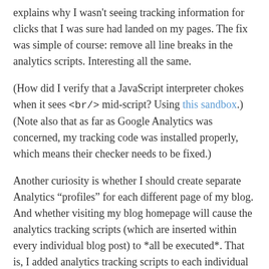explains why I wasn't seeing tracking information for clicks that I was sure had landed on my pages. The fix was simple of course: remove all line breaks in the analytics scripts. Interesting all the same.
(How did I verify that a JavaScript interpreter chokes when it sees <br/> mid-script? Using this sandbox.) (Note also that as far as Google Analytics was concerned, my tracking code was installed properly, which means their checker needs to be fixed.)
Another curiosity is whether I should create separate Analytics "profiles" for each different page of my blog. And whether visiting my blog homepage will cause the analytics tracking scripts (which are inserted within every individual blog post) to *all be executed*. That is, I added analytics tracking scripts to each individual blog post. And when you visit my blog, you automatically see all posts. So presumably, every time I get a visitor to my homepage, all N analytics scripts will execute (where N is the number of blog posts) and so it will seem as if I've had N * x visitors (where x is the number of actual unique visitors to my homepage).